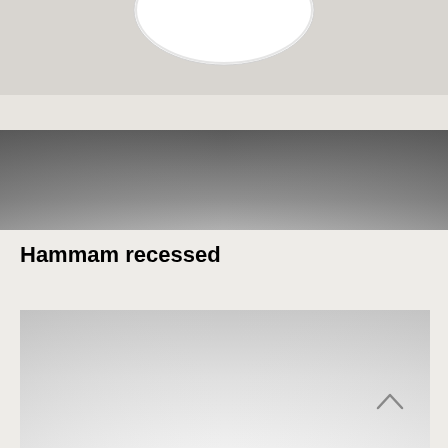[Figure (photo): Top portion of a white recessed ceiling light fixture against a light gray/white background, showing the round white lamp housing from below]
[Figure (photo): A dark gray gradient image showing a blurred atmospheric scene, likely a product photo background for the Hammam recessed light]
Hammam recessed
[Figure (photo): A light gray gradient image showing the bottom portion of a product photo, with a small upward-pointing chevron/arrow icon in the lower right area]